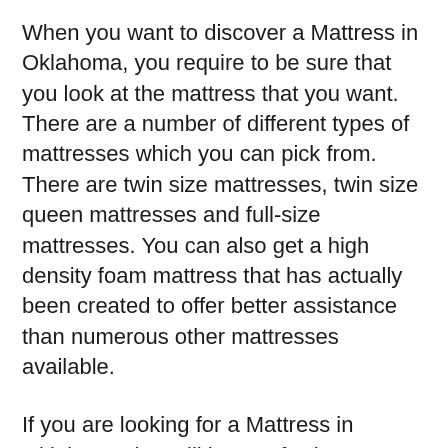When you want to discover a Mattress in Oklahoma, you require to be sure that you look at the mattress that you want. There are a number of different types of mattresses which you can pick from. There are twin size mattresses, twin size queen mattresses and full-size mattresses. You can also get a high density foam mattress that has actually been created to offer better assistance than numerous other mattresses available.
If you are looking for a Mattress in Oklahoma that will be comfy, then you will have a a lot easier time choosing a Mattress in Oklahoma that is matched to your needs. As long as the mattress fits your spending plan and offers you with the comfort you are searching for, then it is very important that you spend some time to compare the rates and the numerous mattresses readily available and choose which one is best fit to you.